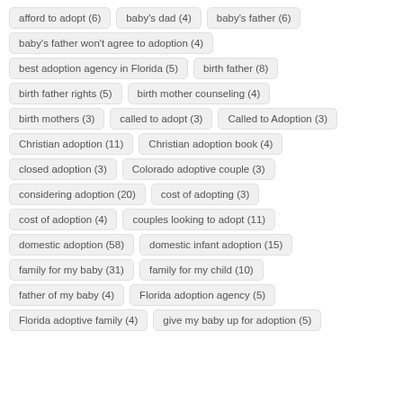afford to adopt (6)
baby's dad (4)
baby's father (6)
baby's father won't agree to adoption (4)
best adoption agency in Florida (5)
birth father (8)
birth father rights (5)
birth mother counseling (4)
birth mothers (3)
called to adopt (3)
Called to Adoption (3)
Christian adoption (11)
Christian adoption book (4)
closed adoption (3)
Colorado adoptive couple (3)
considering adoption (20)
cost of adopting (3)
cost of adoption (4)
couples looking to adopt (11)
domestic adoption (58)
domestic infant adoption (15)
family for my baby (31)
family for my child (10)
father of my baby (4)
Florida adoption agency (5)
Florida adoptive family (4)
give my baby up for adoption (5)